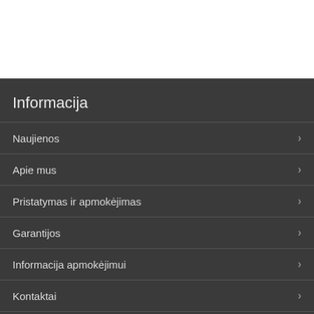Informacija
Naujienos
Apie mus
Pristatymas ir apmokėjimas
Garantijos
Informacija apmokėjimui
Kontaktai
Taisyklės ir sąlygos